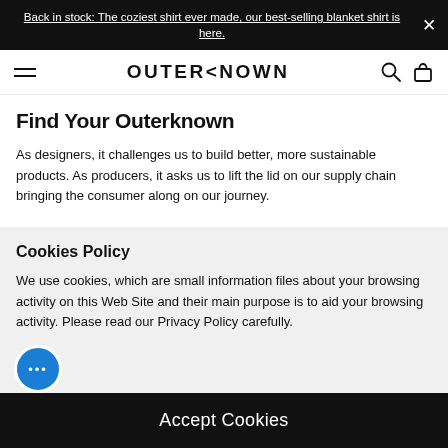Back in stock: The coziest shirt ever made, our best-selling blanket shirt is here.
[Figure (logo): Outerknown navigation bar with hamburger menu, OUTERKNOWN logo, search and bag icons]
Find Your Outerknown
As designers, it challenges us to build better, more sustainable products. As producers, it asks us to lift the lid on our supply chain bringing the consumer along on our journey.
Cookies Policy
We use cookies, which are small information files about your browsing activity on this Web Site and their main purpose is to aid your browsing activity. Please read our Privacy Policy carefully.
Accept Cookies